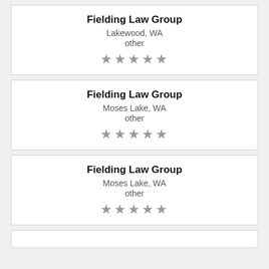Fielding Law Group
Lakewood, WA
other
★★★★★
Fielding Law Group
Moses Lake, WA
other
★★★★★
Fielding Law Group
Moses Lake, WA
other
★★★★★